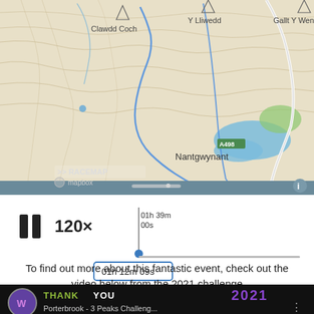[Figure (map): Topographic map showing mountain route including Clawdd Coch, Y Lliwedd, Gallt Y Wenallt, and Nantgwynant. Blue route line visible. Road A498 marked. RACEMAP and mapbox logos visible bottom left.]
[Figure (screenshot): Media playback controls: pause button, 120x speed, time marker at 01h 12m 09s on a slider timeline, tooltip showing 01h 39m 00s above the marker]
To find out more about this fantastic event, check out the video below from the 2021 challenge
[Figure (screenshot): YouTube video thumbnail for 'Porterbrook - 3 Peaks Challeng...' showing THANK YOU text in green/white, 2021 in purple, with channel icon]